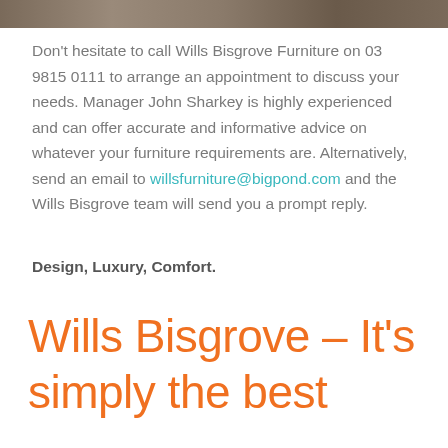[Figure (photo): Top image strip showing furniture or interior scene]
Don't hesitate to call Wills Bisgrove Furniture on 03 9815 0111 to arrange an appointment to discuss your needs. Manager John Sharkey is highly experienced and can offer accurate and informative advice on whatever your furniture requirements are. Alternatively, send an email to willsfurniture@bigpond.com and the Wills Bisgrove team will send you a prompt reply.
Design, Luxury, Comfort.
Wills Bisgrove – It's simply the best